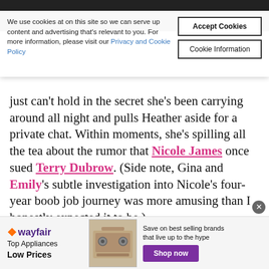We use cookies at on this site so we can serve up content and advertising that's relevant to you. For more information, please visit our Privacy and Cookie Policy
Accept Cookies
Cookie Information
just can't hold in the secret she's been carrying around all night and pulls Heather aside for a private chat. Within moments, she's spilling all the tea about the rumor that Nicole James once sued Terry Dubrow. (Side note, Gina and Emily's subtle investigation into Nicole's four-year boob job journey was more amusing than I honestly expected it to be.)
This is news to Heather. She seems genuinely
[Figure (advertisement): Wayfair ad banner: Top Appliances Low Prices, Save on best selling brands that live up to the hype, Shop now button]